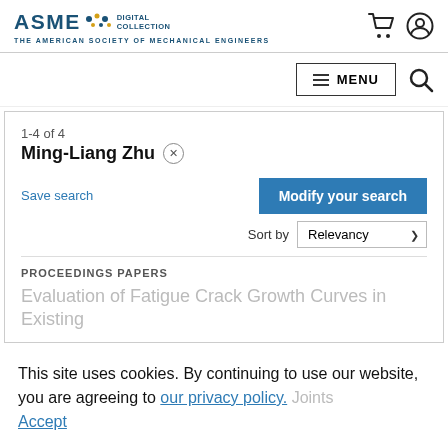ASME DIGITAL COLLECTION — THE AMERICAN SOCIETY OF MECHANICAL ENGINEERS
1-4 of 4
Ming-Liang Zhu ×
Save search
Modify your search
Sort by Relevancy
PROCEEDINGS PAPERS
Evaluation of Fatigue Crack Growth Curves in Existing
This site uses cookies. By continuing to use our website, you are agreeing to our privacy policy. Joints
Accept